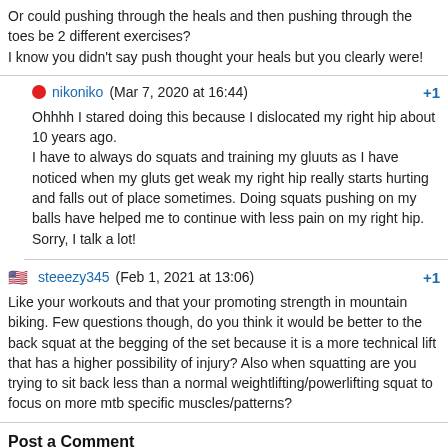Or could pushing through the heals and then pushing through the toes be 2 different exercises?
I know you didn't say push thought your heals but you clearly were!
nikoniko (Mar 7, 2020 at 16:44) +1
Ohhhh I stared doing this because I dislocated my right hip about 10 years ago.
I have to always do squats and training my gluuts as I have noticed when my gluts get weak my right hip really starts hurting and falls out of place sometimes. Doing squats pushing on my balls have helped me to continue with less pain on my right hip.
Sorry, I talk a lot!
steeezy345 (Feb 1, 2021 at 13:06) +1
Like your workouts and that your promoting strength in mountain biking. Few questions though, do you think it would be better to the back squat at the begging of the set because it is a more technical lift that has a higher possibility of injury? Also when squatting are you trying to sit back less than a normal weightlifting/powerlifting squat to focus on more mtb specific muscles/patterns?
Post a Comment